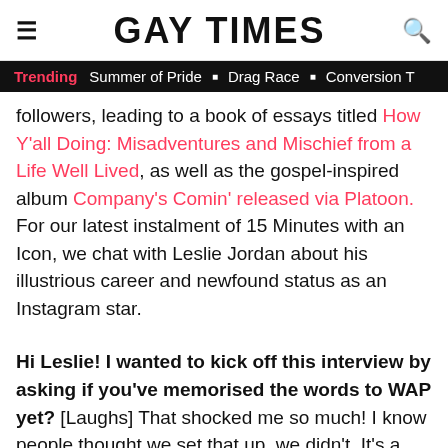GAY TIMES
Trending  Summer of Pride  ■  Drag Race  ■  Conversion T
followers, leading to a book of essays titled How Y'all Doing: Misadventures and Mischief from a Life Well Lived, as well as the gospel-inspired album Company's Comin' released via Platoon. For our latest instalment of 15 Minutes with an Icon, we chat with Leslie Jordan about his illustrious career and newfound status as an Instagram star.
Hi Leslie! I wanted to kick off this interview by asking if you've memorised the words to WAP yet? [Laughs] That shocked me so much! I know people thought we set that up, we didn't. It's a genuine reaction. Wet ass pussy!
Thank you for providing us all with such incredible